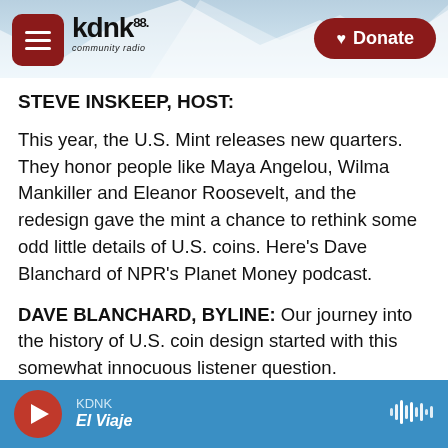KDNK 88 community radio | Donate
STEVE INSKEEP, HOST:
This year, the U.S. Mint releases new quarters. They honor people like Maya Angelou, Wilma Mankiller and Eleanor Roosevelt, and the redesign gave the mint a chance to rethink some odd little details of U.S. coins. Here's Dave Blanchard of NPR's Planet Money podcast.
DAVE BLANCHARD, BYLINE: Our journey into the history of U.S. coin design started with this somewhat innocuous listener question.
RANDY SIMPSON, Hi Planet Money. This is Rand...
KDNK | El Viaje